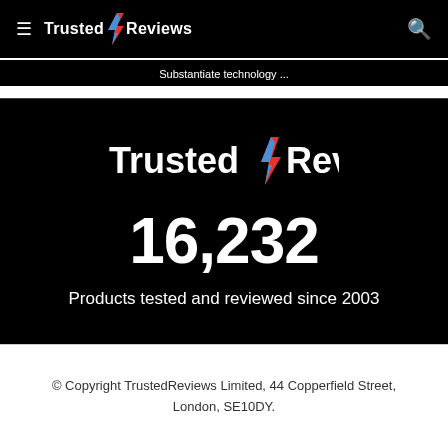≡  Trusted Reviews  🔍
Substantiate technology...
[Figure (logo): Trusted Reviews logo with lightning bolt between 'Trusted' and 'Reviews' text on black background]
16,232
Products tested and reviewed since 2003
© Copyright TrustedReviews Limited, 44 Copperfield Street, London, SE10DY.